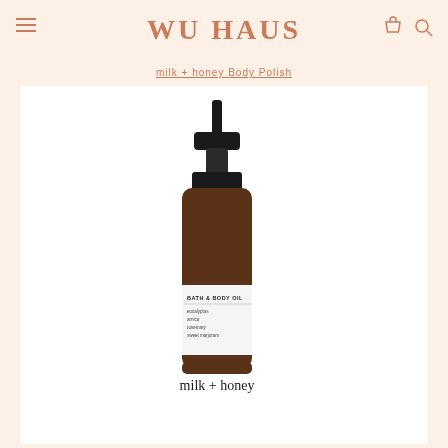WU HAUS
milk + honey Body Polish
[Figure (photo): Amber glass pump bottle of milk + honey Bath & Body Oil with black pump top and white label listing ingredients including eucalyptus, arnica, rosemary, and sweet marjoram. The bottle displays 'milk + honey' branding at the bottom.]